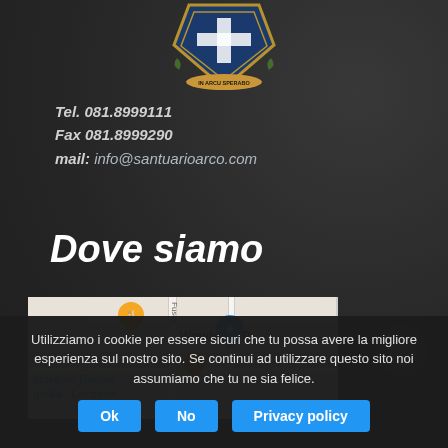[Figure (logo): Shield/crest logo with 'IN ARCU SPERABO' text at top of page]
Tel. 081.8999111
Fax 081.8999290
mail: info@santuarioarco.com
Dove siamo
[Figure (map): Google Maps screenshot showing location with orange restaurant pin for 'storante Donna giulia - Location' and blue pin for 'Wonderful P...' marker, street Fusco visible]
Utilizziamo i cookie per essere sicuri che tu possa avere la migliore esperienza sul nostro sito. Se continui ad utilizzare questo sito noi assumiamo che tu ne sia felice.
Ok   No   Privacy policy